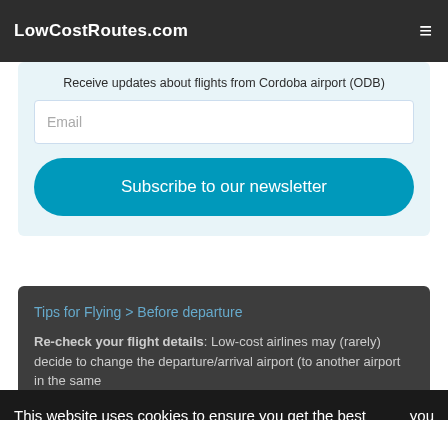LowCostRoutes.com
Receive updates about flights from Cordoba airport (ODB)
Email
Subscribe to our newsletter
Tips for Flying > Before departure
Re-check your flight details: Low-cost airlines may (rarely) decide to change the departure/arrival airport (to another airport in the same
This website uses cookies to ensure you get the best experience on our website. Learn more you